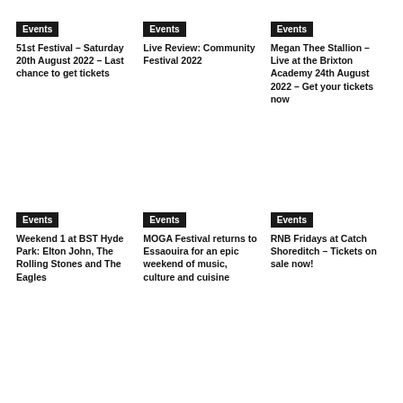Events
51st Festival – Saturday 20th August 2022 – Last chance to get tickets
Events
Live Review: Community Festival 2022
Events
Megan Thee Stallion – Live at the Brixton Academy 24th August 2022 – Get your tickets now
Events
Weekend 1 at BST Hyde Park: Elton John, The Rolling Stones and The Eagles
Events
MOGA Festival returns to Essaouira for an epic weekend of music, culture and cuisine
Events
RNB Fridays at Catch Shoreditch – Tickets on sale now!